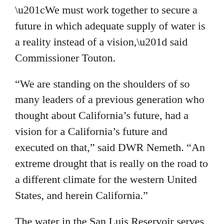“We must work together to secure a future in which adequate supply of water is a reality instead of a vision,” said Commissioner Touton.
“We are standing on the shoulders of so many leaders of a previous generation who thought about California’s future, had a vision for a California’s future and executed on that,” said DWR Nemeth. “An extreme drought that is really on the road to a different climate for the western United States, and herein California.”
The water in the San Luis Reservoir serves the communities around it. The safety plan will provide clean water for everyone in the Valley. It will bring good jobs to the region, and it really shows the investment of our infrastructure to continue supporting the industries here and the agriculture